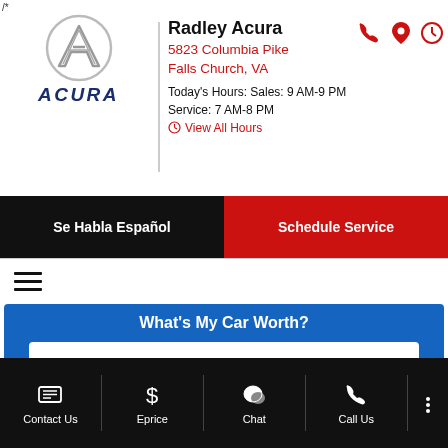/*
[Figure (logo): Acura logo emblem (silver circle with stylized A) and ACURA wordmark in dark navy blue]
Radley Acura
5823 Columbia Pike
Falls Church, VA
Today's Hours: Sales: 9 AM-9 PM
Service: 7 AM-8 PM
View All Hours
Se Habla Español
Schedule Service
What's My Car Worth?
Enter Year Make Model
Contact Us
Eprice
Chat
Call Us